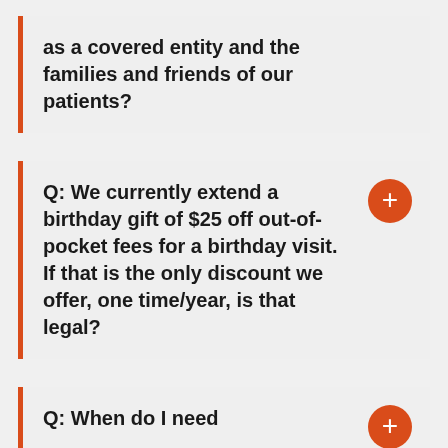as a covered entity and the families and friends of our patients?
Q: We currently extend a birthday gift of $25 off out-of-pocket fees for a birthday visit. If that is the only discount we offer, one time/year, is that legal?
Q: When do I need